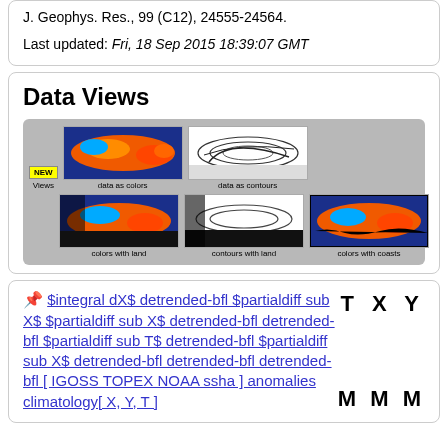J. Geophys. Res., 99 (C12), 24555-24564.
Last updated: Fri, 18 Sep 2015 18:39:07 GMT
Data Views
[Figure (screenshot): Data Views thumbnails panel showing 5 map views: 'NEW Views' badge, 'data as colors' (color map), 'data as contours' (contour map), 'colors with land', 'contours with land', 'colors with coasts']
T X Y
📌 $integral dX$ detrended-bfl $partialdiff sub X$ $partialdiff sub X$ detrended-bfl detrended-bfl $partialdiff sub T$ detrended-bfl $partialdiff sub X$ detrended-bfl detrended-bfl detrended-bfl [ IGOSS TOPEX NOAA ssha ] anomalies climatology[ X, Y, T ]
M M M